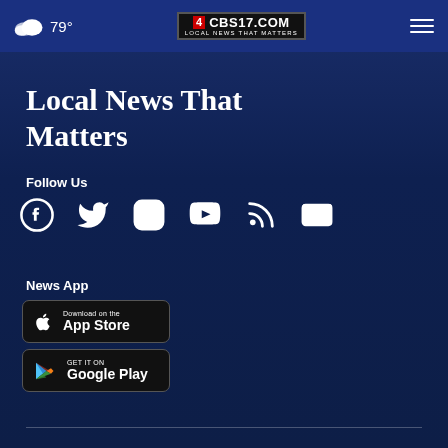79° CBS17.COM LOCAL NEWS THAT MATTERS
Local News That Matters
Follow Us
[Figure (infographic): Social media icons: Facebook, Twitter, Instagram, YouTube, RSS, Email]
News App
[Figure (infographic): Download on the App Store button (Apple)]
[Figure (infographic): GET IT ON Google Play button]